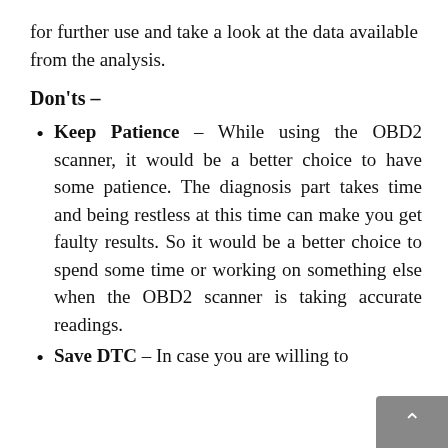for further use and take a look at the data available from the analysis.
Don'ts –
Keep Patience – While using the OBD2 scanner, it would be a better choice to have some patience. The diagnosis part takes time and being restless at this time can make you get faulty results. So it would be a better choice to spend some time or working on something else when the OBD2 scanner is taking accurate readings.
Save DTC – In case you are willing to